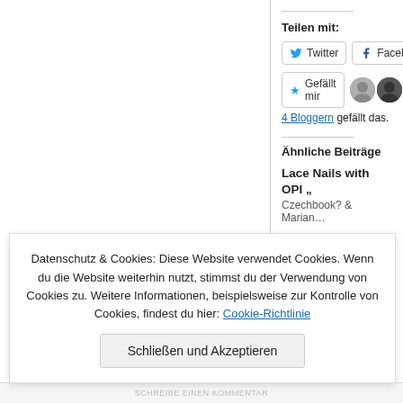Teilen mit:
[Figure (screenshot): Twitter share button]
[Figure (screenshot): Facebook share button (partially visible)]
[Figure (screenshot): Gefällt mir (Like) button with star icon, and two avatar thumbnails]
4 Bloggern gefällt das.
Ähnliche Beiträge
Lace Nails with OPI „…
Czechbook? & Marian…
Datenschutz & Cookies: Diese Website verwendet Cookies. Wenn du die Website weiterhin nutzt, stimmst du der Verwendung von Cookies zu. Weitere Informationen, beispielsweise zur Kontrolle von Cookies, findest du hier: Cookie-Richtlinie
Schließen und Akzeptieren